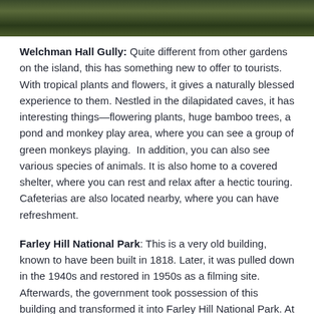[Figure (photo): Photo strip showing a dappled forest/garden path with green foliage and shadows]
Welchman Hall Gully: Quite different from other gardens on the island, this has something new to offer to tourists. With tropical plants and flowers, it gives a naturally blessed experience to them. Nestled in the dilapidated caves, it has interesting things—flowering plants, huge bamboo trees, a pond and monkey play area, where you can see a group of green monkeys playing.  In addition, you can also see various species of animals. It is also home to a covered shelter, where you can rest and relax after a hectic touring. Cafeterias are also located nearby, where you can have refreshment.
Farley Hill National Park: This is a very old building, known to have been built in 1818. Later, it was pulled down in the 1940s and restored in 1950s as a filming site. Afterwards, the government took possession of this building and transformed it into Farley Hill National Park. At present, it is spread over 17-acre of land and